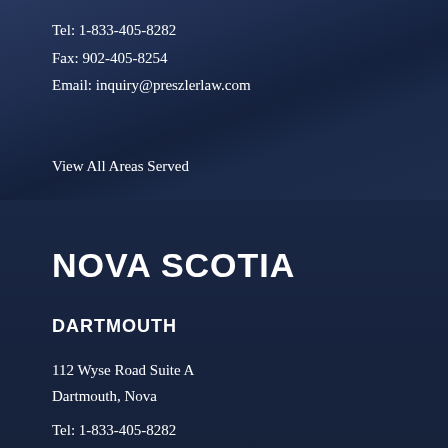Tel: 1-833-405-8282
Fax: 902-405-8254
Email: inquiry@preszlerlaw.com
View All Areas Served
NOVA SCOTIA
DARTMOUTH
112 Wyse Road Suite A
Dartmouth, Nova
Tel: 1-833-405-8282
[Figure (photo): Chat widget with woman wearing headset and 'Hi how can I help?' chat bubble]